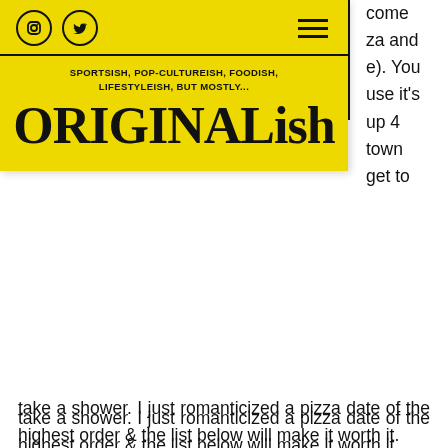[Figure (logo): ORIGINALish blog logo on yellow background with social icons and hamburger menu, tagline reading SPORTSish, POP-CULTUREish, FOODish, LIFESTYLEish, BUT MOSTLY... ORIGINALish]
come
za and
e). You
use it's
up 4
town
get to
take a shower. I just romanticized a pizza date of the highest order & the list below will make it worth it.
I haven't eaten enough pizza in the City to choose the top ones. This is merely the list of triangular tomato-Mozzarella creation I would trust impressing a girl with. Cheesy much? (pun intended).